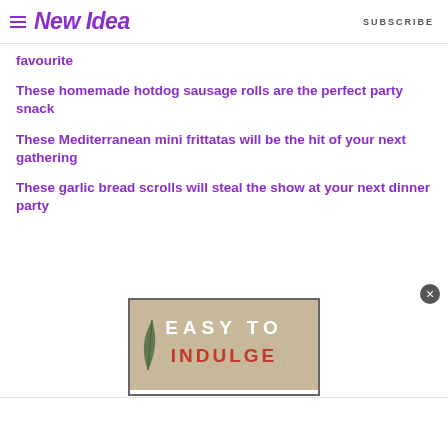New Idea | SUBSCRIBE
favourite
These homemade hotdog sausage rolls are the perfect party snack
These Mediterranean mini frittatas will be the hit of your next gathering
These garlic bread scrolls will steal the show at your next dinner party
[Figure (other): Advertisement banner reading EASY TO INDULGE with a tan/beige background and decorative elements including a leaf and curved lines. A close button (×) appears in the bottom right corner.]